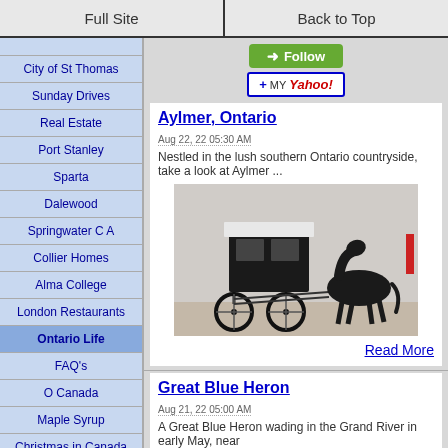Full Site | Back to Top
City of St Thomas
Sunday Drives
Real Estate
Port Stanley
Sparta
Dalewood
Springwater C A
Collier Homes
Alma College
London Restaurants
Ontario Life
FAQ's
O Canada
Maple Syrup
Christmas in Canada
Video Gallery
Aylmer, Ontario
Aug 22, 22 05:30 AM
Nestled in the lush southern Ontario countryside, take a look at Aylmer ...
[Figure (photo): A black horse-drawn buggy/carriage parked on pavement, with a dark horse harnessed to it]
Read More
Great Blue Heron
Aug 21, 22 05:00 AM
A Great Blue Heron wading in the Grand River in early May, near